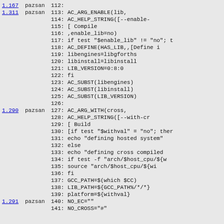Code viewer showing lines 112-141 of a configure script with version annotations (1.167, 1.311, 1.290, 1.291) and author (pazsan)
112: (blank)
113: AC_ARG_ENABLE(lib,
114:         AC_HELP_STRING([--enable-
115:                         [ Compile
116:         ,enable_lib=no)
117: if test "$enable_lib" != "no"; t
118:     AC_DEFINE(HAS_LIB,,[Define i
119:     libengines=libgforths
120:     libinstall=libinstall
121:     LIB_VERSION=0:8:0
122: fi
123: AC_SUBST(libengines)
124: AC_SUBST(libinstall)
125: AC_SUBST(LIB_VERSION)
126: (blank)
127: AC_ARG_WITH(cross,
128:         AC_HELP_STRING([--with-cr
129:                         [ Build
130: [if test "$withval" = "no"; ther
131:   echo "defining hosted system"
132: else
133:   echo "defining cross compiled
134:   if test -f "arch/$host_cpu/${w
135:     source "arch/$host_cpu/${wi
136:   fi
137:   GCC_PATH=$(which $CC)
138:   LIB_PATH=${GCC_PATH%/*/*}
139:   platform=${withval}
140:   NO_EC=""
141:   NO_CROSS="#"